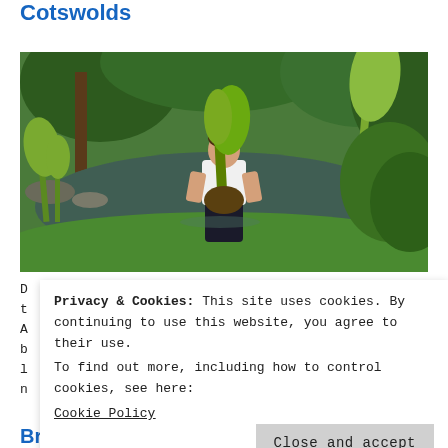Cotswolds
[Figure (photo): A man standing in a garden pond holding a large aquatic plant, surrounded by lush green vegetation and trees.]
Privacy & Cookies: This site uses cookies. By continuing to use this website, you agree to their use.
To find out more, including how to control cookies, see here:
Cookie Policy
Britain and the Sea episode 3